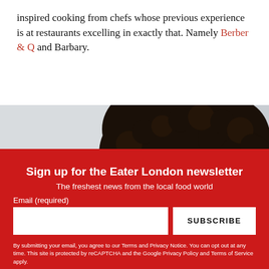inspired cooking from chefs whose previous experience is at restaurants excelling in exactly that. Namely Berber & Q and Barbary.
[Figure (photo): Partial view of a person's head with dark curly hair against a light grey/white background]
close ×
Sign up for the Eater London newsletter
The freshest news from the local food world
Email (required)
SUBSCRIBE
By submitting your email, you agree to our Terms and Privacy Notice. You can opt out at any time. This site is protected by reCAPTCHA and the Google Privacy Policy and Terms of Service apply.